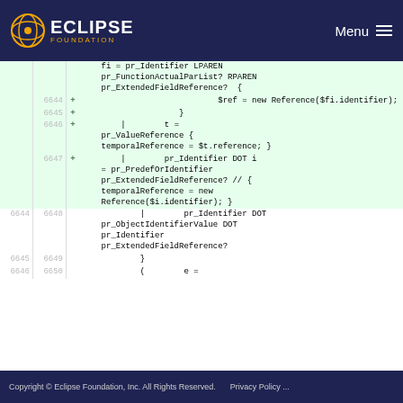Eclipse Foundation  Menu
[Figure (screenshot): Code diff view showing added lines 6644-6650 in a grammar/parser file with green highlighting for additions]
Copyright © Eclipse Foundation, Inc. All Rights Reserved.    Privacy Policy ...